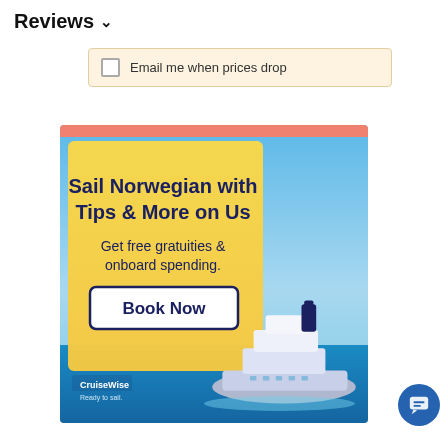Reviews ∨
Email me when prices drop
[Figure (illustration): CruiseWise advertisement banner: 'Sail Norwegian with Tips & More on Us. Get free gratuities & onboard spending. Book Now.' with cruise ship image and CruiseWise logo on ocean background.]